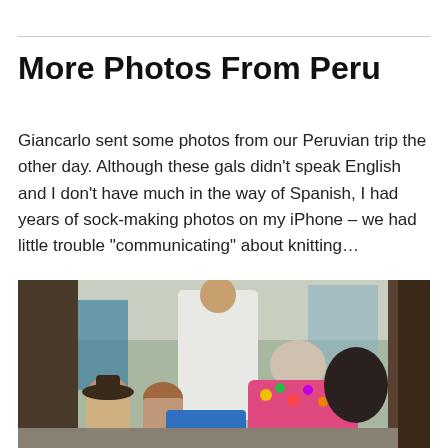More Photos From Peru
Giancarlo sent some photos from our Peruvian trip the other day. Although these gals didn't speak English and I don't have much in the way of Spanish, I had years of sock-making photos on my iPhone – we had little trouble "communicating" about knitting…
[Figure (photo): A group of people gathered together; an older woman in a colorful floral shirt bends over to show something on what appears to be a phone or tablet to several Peruvian women seated and looking on, with a man in a white shirt standing in the background.]